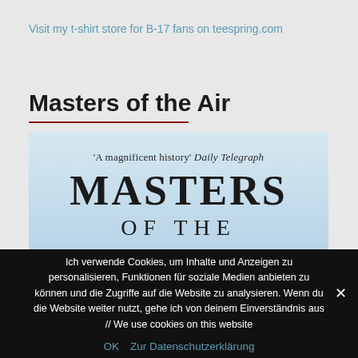Visit my t-shirt store for B-17 fans on teespring.com
Masters of the Air
[Figure (photo): Book cover of 'Masters of the Air' showing the title text. Quote reads: 'A magnificent history' Daily Telegraph, followed by MASTERS in large serif font and OF THE below it.]
Ich verwende Cookies, um Inhalte und Anzeigen zu personalisieren, Funktionen für soziale Medien anbieten zu können und die Zugriffe auf die Website zu analysieren. Wenn du die Website weiter nutzt, gehe ich von deinem Einverständnis aus // We use cookies on this website
OK   Zur Datenschutzerklärung